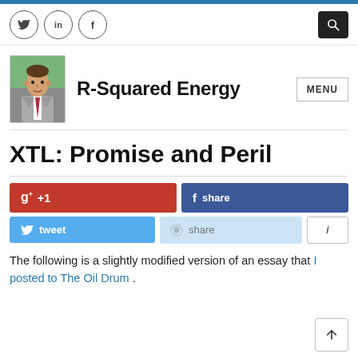R-Squared Energy — navigation bar with social icons and search
[Figure (photo): Portrait photo of a man in suit and red tie against green background, used as site logo/avatar for R-Squared Energy blog]
R-Squared Energy
XTL: Promise and Peril
The following is a slightly modified version of an essay that I posted to The Oil Drum .